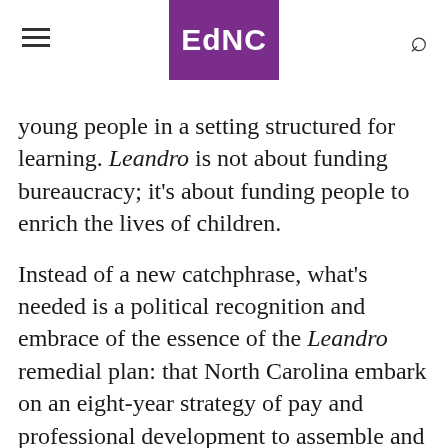EdNC
young people in a setting structured for learning. Leandro is not about funding bureaucracy; it’s about funding people to enrich the lives of children.
Instead of a new catchphrase, what’s needed is a political recognition and embrace of the essence of the Leandro remedial plan: that North Carolina embark on an eight-year strategy of pay and professional development to assemble and sustain a well-educated, highly capable, diverse cadre of educators.